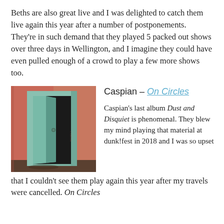Beths are also great live and I was delighted to catch them live again this year after a number of postponements. They're in such demand that they played 5 packed out shows over three days in Wellington, and I imagine they could have even pulled enough of a crowd to play a few more shows too.
[Figure (photo): Album cover for Caspian - On Circles: an open door set in a salmon/terracotta pink wall, with a teal/green-painted door and frame revealing darkness inside.]
Caspian – On Circles
Caspian's last album Dust and Disquiet is phenomenal. They blew my mind playing that material at dunk!fest in 2018 and I was so upset that I couldn't see them play again this year after my travels were cancelled. On Circles